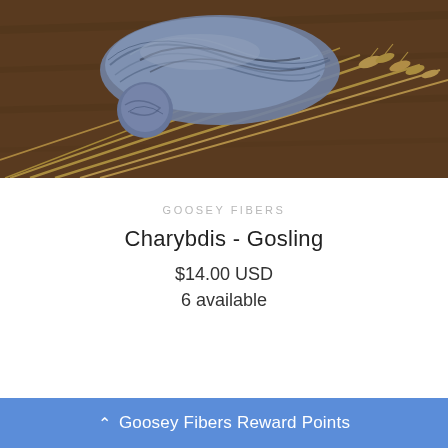[Figure (photo): Skeins of blue-gray variegated yarn arranged on a wooden surface with dried wheat/grain stalks]
GOOSEY FIBERS
Charybdis - Gosling
$14.00 USD
6 available
Goosey Fibers Reward Points